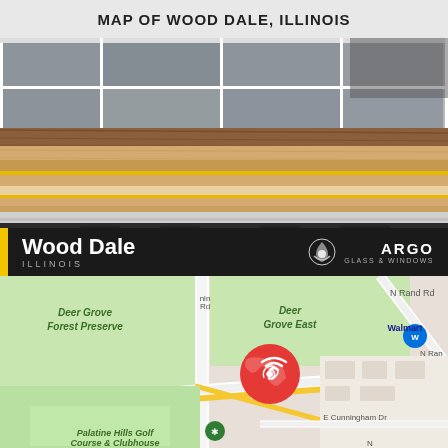MAP OF WOOD DALE, ILLINOIS
[Figure (photo): Close-up photo of wooden window frames and glass panels stacked on a window frame mechanism with black hardware components]
Wood Dale
ILLINOIS
[Figure (map): Google Maps view of Wood Dale, Illinois area showing Deer Grove Forest Preserve, Deer Grove East, Palatine Hills Golf Course & Clubhouse, Walmart, E Cunningham Dr, N Rand Rd, and a red phone/call button overlay in the center]